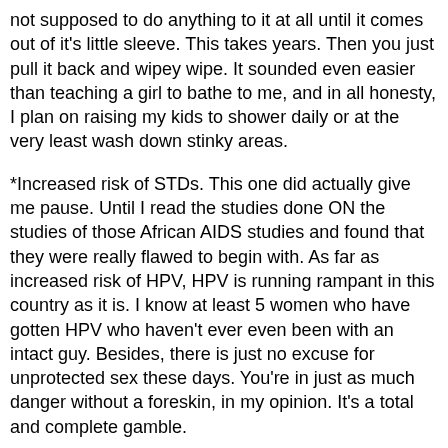not supposed to do anything to it at all until it comes out of it's little sleeve. This takes years. Then you just pull it back and wipey wipe. It sounded even easier than teaching a girl to bathe to me, and in all honesty, I plan on raising my kids to shower daily or at the very least wash down stinky areas.
*Increased risk of STDs. This one did actually give me pause. Until I read the studies done ON the studies of those African AIDS studies and found that they were really flawed to begin with. As far as increased risk of HPV, HPV is running rampant in this country as it is. I know at least 5 women who have gotten HPV who haven't ever even been with an intact guy. Besides, there is just no excuse for unprotected sex these days. You're in just as much danger without a foreskin, in my opinion. It's a total and complete gamble.
*Fear of teasing in the locker room. Come on. Seriously? So if he has a big nose should I get him a nose job so no one teases him in the hallway? Besides, WHO ARE THESE PEOPLE STARING AT EACH OTHER'S PACKAGES?? This one is such a non-issue for me that I can't help but laugh.